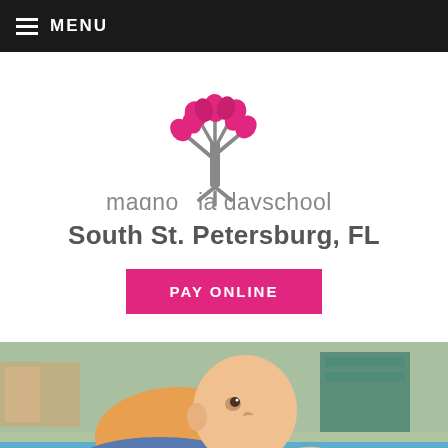MENU
[Figure (logo): Magnolia Dayschool logo — a stylized tree with hot-pink leaf clusters and grey trunk, text 'magnolia dayschool' in grey below]
South St. Petersburg, FL
PAY ONLINE
[Figure (photo): A baby/toddler in an orange shirt lying on a blue mat playing with colorful building blocks, an adult hand visible in the foreground also touching the blocks, set in a daycare/classroom environment]